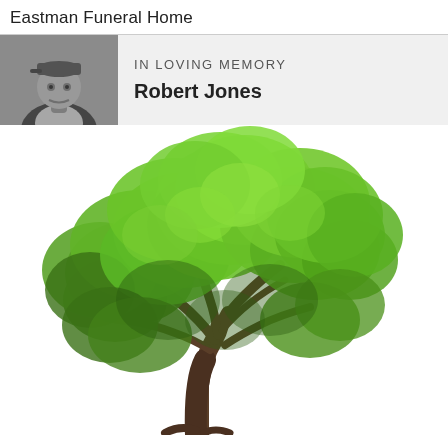Eastman Funeral Home
IN LOVING MEMORY
Robert Jones
[Figure (photo): Black and white portrait photo of Robert Jones wearing a cap, used as memorial photo thumbnail]
[Figure (photo): Large color photograph of a solitary green deciduous tree with full leafy canopy against a white background]